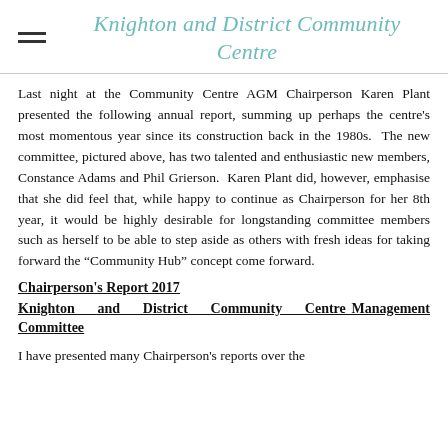Knighton and District Community Centre
Last night at the Community Centre AGM Chairperson Karen Plant presented the following annual report, summing up perhaps the centre's most momentous year since its construction back in the 1980s. The new committee, pictured above, has two talented and enthusiastic new members, Constance Adams and Phil Grierson. Karen Plant did, however, emphasise that she did feel that, while happy to continue as Chairperson for her 8th year, it would be highly desirable for longstanding committee members such as herself to be able to step aside as others with fresh ideas for taking forward the "Community Hub" concept come forward.
Chairperson's Report 2017
Knighton and District Community Centre Management Committee
I have presented many Chairperson's reports over the